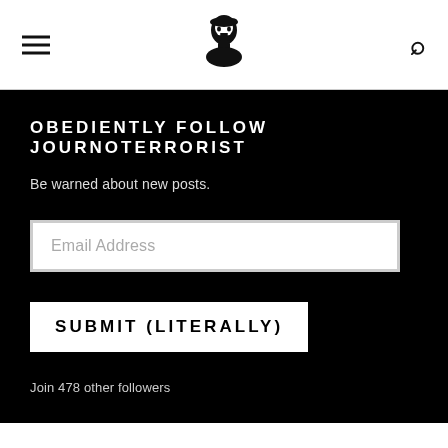[hamburger menu] [logo: Che Guevara silhouette] [search icon]
OBEDIENTLY FOLLOW JOURNOTERRORIST
Be warned about new posts.
Email Address
SUBMIT (LITERALLY)
Join 478 other followers
MOST READ TODAY